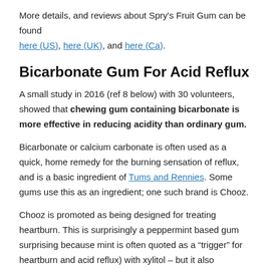More details, and reviews about Spry's Fruit Gum can be found here (US), here (UK), and here (Ca).
Bicarbonate Gum For Acid Reflux
A small study in 2016 (ref 8 below) with 30 volunteers, showed that chewing gum containing bicarbonate is more effective in reducing acidity than ordinary gum.
Bicarbonate or calcium carbonate is often used as a quick, home remedy for the burning sensation of reflux, and is a basic ingredient of Tums and Rennies. Some gums use this as an ingredient; one such brand is Chooz.
Chooz is promoted as being designed for treating heartburn. This is surprisingly a peppermint based gum surprising because mint is often quoted as a “trigger” for heartburn and acid reflux) with xylitol – but it also contains the artificial sweetener aspartame, which, as outlined below, has a mixed reputation and associated with health